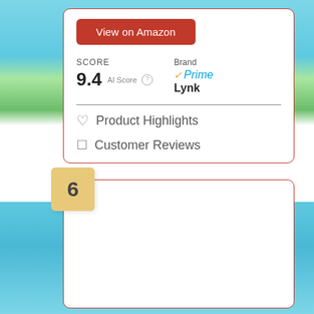View on Amazon
SCORE
9.4  AI Score
Brand  Prime  Lynk
Product Highlights
Customer Reviews
6